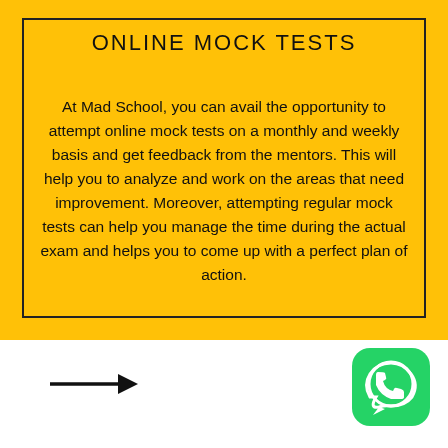ONLINE MOCK TESTS
At Mad School, you can avail the opportunity to attempt online mock tests on a monthly and weekly basis and get feedback from the mentors. This will help you to analyze and work on the areas that need improvement. Moreover, attempting regular mock tests can help you manage the time during the actual exam and helps you to come up with a perfect plan of action.
[Figure (illustration): Right-pointing arrow in the white footer area]
[Figure (logo): WhatsApp icon - green rounded square with white phone/speech bubble logo]